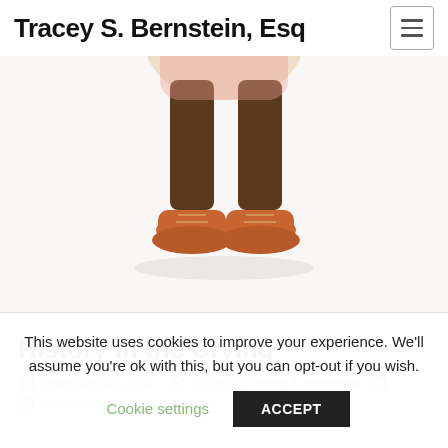Tracey S. Bernstein, Esq
[Figure (illustration): Cartoon illustration of a character's lower body showing legs in brown trousers, orange/brown boots with laces, on a light background]
History in the Crying
September 4th, 2014   Posted by Tracey S. Bernstein   No Comment yet
This website uses cookies to improve your experience. We'll assume you're ok with this, but you can opt-out if you wish. Cookie settings ACCEPT